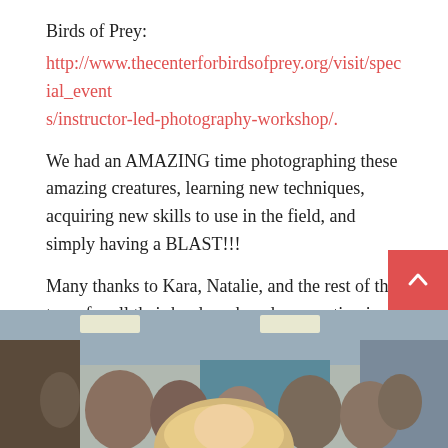Birds of Prey:
http://www.thecenterforbirdsofprey.org/visit/special_events/instructor-led-photography-workshop/
We had an AMAZING time photographing these amazing creatures, learning new techniques, acquiring new skills to use in the field, and simply having a BLAST!!!
Many thanks to Kara, Natalie, and the rest of the team for all their hard work and preparation in pulling this event off! And a huge shout out to all the wonderful attendees!!!
If you missed it this year, I hope you'll join me next fall for #3. 🙂
[Figure (photo): Indoor group photo showing people gathered in a room; a blonde person is visible in the foreground.]